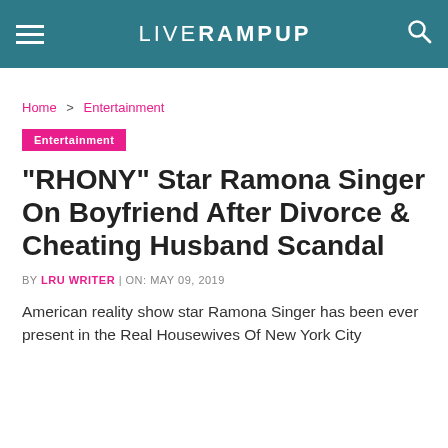LIVERAMPUP
Home > Entertainment
Entertainment
"RHONY" Star Ramona Singer On Boyfriend After Divorce & Cheating Husband Scandal
BY LRU WRITER | ON: MAY 09, 2019
American reality show star Ramona Singer has been ever present in the Real Housewives Of New York City